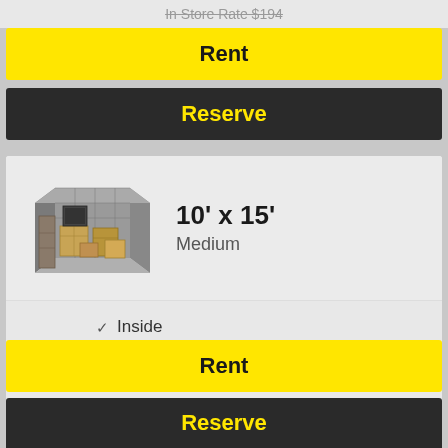In Store Rate $194
Rent
Reserve
10' x 15' Medium
[Figure (illustration): 3D illustration of a medium storage unit filled with boxes and furniture]
Inside
Ground Floor
Climate Controlled
Web Rate $174
In Store Rate $200
Rent
Reserve